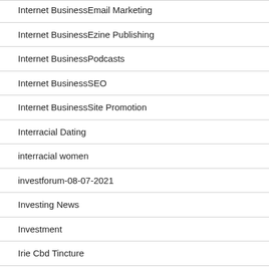Internet BusinessEmail Marketing
Internet BusinessEzine Publishing
Internet BusinessPodcasts
Internet BusinessSEO
Internet BusinessSite Promotion
Interracial Dating
interracial women
investforum-08-07-2021
Investing News
Investment
Irie Cbd Tincture
Is Cbd From Hemp The Same As Cbd From Marijuana